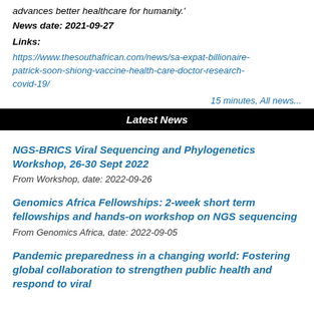advances better healthcare for humanity.'
News date: 2021-09-27
Links:
https://www.thesouthafrican.com/news/sa-expat-billionaire-patrick-soon-shiong-vaccine-health-care-doctor-research-covid-19/
15 minutes, All news...
Latest News
NGS-BRICS Viral Sequencing and Phylogenetics Workshop, 26-30 Sept 2022
From Workshop, date: 2022-09-26
Genomics Africa Fellowships: 2-week short term fellowships and hands-on workshop on NGS sequencing
From Genomics Africa, date: 2022-09-05
Pandemic preparedness in a changing world: Fostering global collaboration to strengthen public health and respond to viral